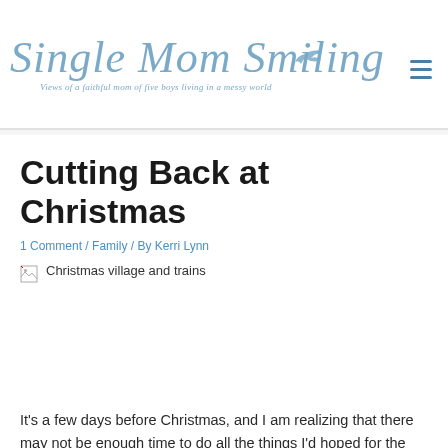Single Mom Smiling — Views of a faithful mom of five boys living in a messy world
Cutting Back at Christmas
1 Comment / Family / By Kerri Lynn
[Figure (photo): Broken image placeholder with alt text: Christmas village and trains]
It's a few days before Christmas, and I am realizing that there may not be enough time to do all the things I'd hoped for the holidays.